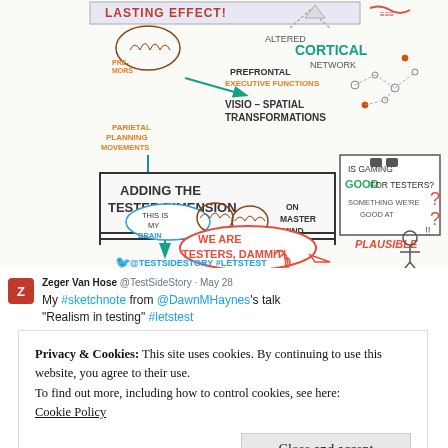[Figure (illustration): Sketchnote illustration about gaming and testing, featuring hand-drawn diagrams with text: 'LASTING EFFECT!', 'PREFRONTAL EXECUTIVE FUNCTIONS', 'VISIO-SPATIAL TRANSFORMATIONS', 'PARIETAL PLANNING MOVEMENTS', 'ADDING THE TESTER DIMENSION', 'IS GAMING GOOD FOR TESTERS?', 'SOMETHING WE'RE GOOD AT', 'THIS IS MY BRAIN', 'ON MASTER MIND', 'WE ARE TESTERS, DAMMIT!', 'PLAUSIBLE', '@TESTSIDESTORY #LETSTEST'. Hand-drawn brain, arrows, network diagrams, speech bubbles, and stick figure.]
Zeger Van Hose @TestSideStory · May 28
My #sketchnote from @DawnMHaynes's talk "Realism in testing" #letstest
Privacy & Cookies: This site uses cookies. By continuing to use this website, you agree to their use.
To find out more, including how to control cookies, see here:
Cookie Policy
Close and accept